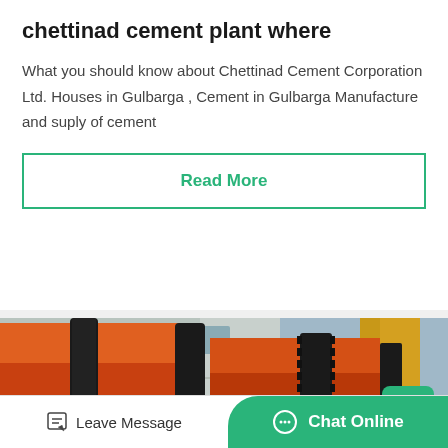chettinad cement plant where
What you should know about Chettinad Cement Corporation Ltd. Houses in Gulbarga , Cement in Gulbarga Manufacture and suply of cement
Read More
[Figure (photo): Close-up photo of large orange industrial rotary kiln cylinders with black metal rings/gears, in an industrial plant setting]
Leave Message
Chat Online